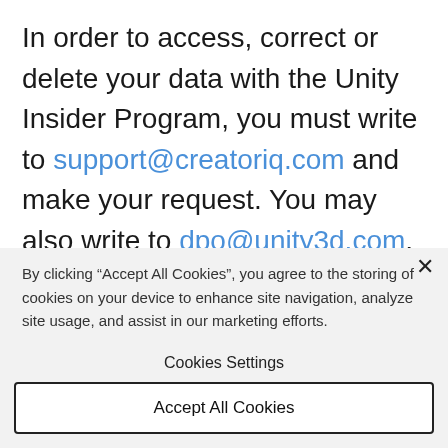In order to access, correct or delete your data with the Unity Insider Program, you must write to support@creatoriq.com and make your request. You may also write to dpo@unity3d.com, and we will forward your request to CreatorIQ.  Should you experience any difficulties in accessing, correcting or
By clicking “Accept All Cookies”, you agree to the storing of cookies on your device to enhance site navigation, analyze site usage, and assist in our marketing efforts.
Cookies Settings
Accept All Cookies